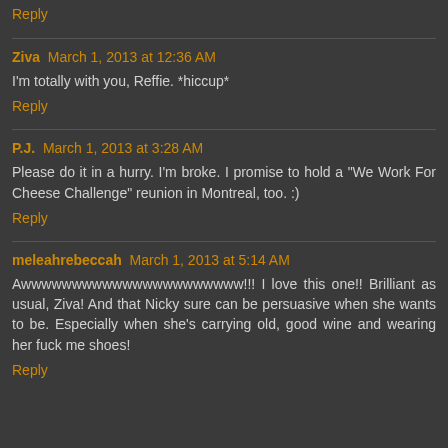Reply
Ziva  March 1, 2013 at 12:36 AM
I'm totally with you, Reffie. *hiccup*
Reply
P.J.  March 1, 2013 at 3:28 AM
Please do it in a hurry. I'm broke. I promise to hold a "We Work For Cheese Challenge" reunion in Montreal, too. :)
Reply
meleahrebeccah  March 1, 2013 at 5:14 AM
Awwwwwwwwwwwwwwwwwwwwww!!! I love this one!! Brilliant as usual, Ziva! And that Nicky sure can be persuasive when she wants to be. Especially when she's carrying old, good wine and wearing her fuck me shoes!
Reply